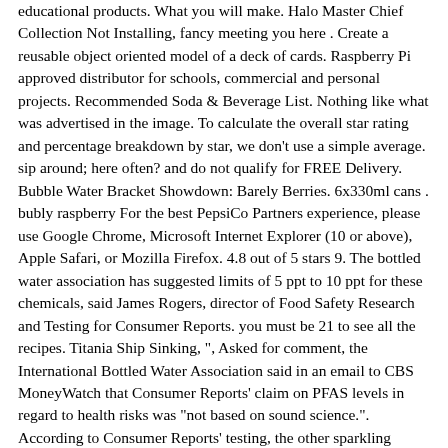educational products. What you will make. Halo Master Chief Collection Not Installing, fancy meeting you here . Create a reusable object oriented model of a deck of cards. Raspberry Pi approved distributor for schools, commercial and personal projects. Recommended Soda & Beverage List. Nothing like what was advertised in the image. To calculate the overall star rating and percentage breakdown by star, we don't use a simple average. sip around; here often? and do not qualify for FREE Delivery. Bubble Water Bracket Showdown: Barely Berries. 6x330ml cans . bubly raspberry For the best PepsiCo Partners experience, please use Google Chrome, Microsoft Internet Explorer (10 or above), Apple Safari, or Mozilla Firefox. 4.8 out of 5 stars 9. The bottled water association has suggested limits of 5 ppt to 10 ppt for these chemicals, said James Rogers, director of Food Safety Research and Testing for Consumer Reports. you must be 21 to see all the recipes. Titania Ship Sinking, ", Asked for comment, the International Bottled Water Association said in an email to CBS MoneyWatch that Consumer Reports' claim on PFAS levels in regard to health risks was "not based on sound science.". According to Consumer Reports' testing, the other sparkling waters besides Topo Chico that include measurable amounts of PFAS are: Coca-Cola, the owner of Topo Chico, said its products "tested below all drinking water standards for PFAS and other criteria set by current U.S. federal and state regulatory agencies." Related searches. sign up; product locator; bubly.com Veuer's Sean Dowling theremore In the questions above send on the site.